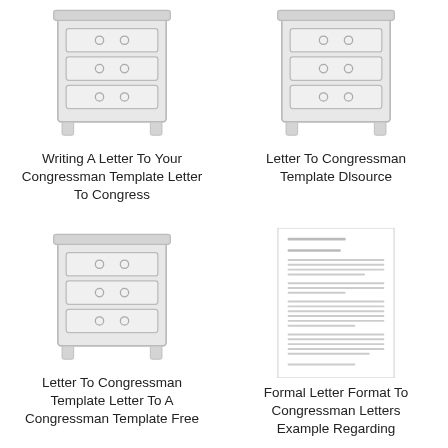[Figure (illustration): Dresser/chest of drawers icon thumbnail, gray tones, top-left]
[Figure (illustration): Dresser/chest of drawers icon thumbnail, gray tones, top-right]
Writing A Letter To Your Congressman Template Letter To Congress
Letter To Congressman Template Dlsource
[Figure (illustration): Dresser/chest of drawers icon thumbnail, gray tones, bottom-left]
[Figure (screenshot): Letter template document with paragraphs of small text, bottom-right]
Letter To Congressman Template Letter To A Congressman Template Free
Formal Letter Format To Congressman Letters Example Regarding